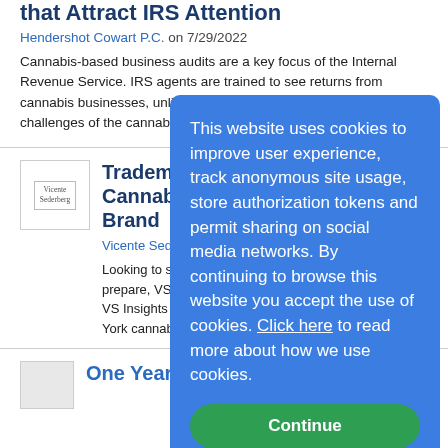that Attract IRS Attention
Hendershot Cowart P.C. on 7/29/2022
Cannabis-based business audits are a key focus of the Internal Revenue Service. IRS agents are trained to see returns from cannabis businesses, unlike mainstream industries and the unique challenges of the cannabis industry....more
[Figure (logo): Vicente Sederberg LLP logo thumbnail]
Trademarking Your Cannabis Industry Brand
Vicente Sederberg LLP on T...
Looking to start a cannabis business? To help you prepare, VS's New York team wrote a five part series of VS Insights to help prepare you to applying for a New York cannabis license....more
[Figure (screenshot): Cookie consent overlay: 'This website uses cookies to improve user experience, track anonymous site usage, store authorization tokens and permit sharing on social media networks. By continuing to browse this website you accept the use of cookies. Click here to read more about how we use cookies.' with a Continue button.]
[Figure (illustration): Small thumbnail image for third article]
One Year of Action Si...